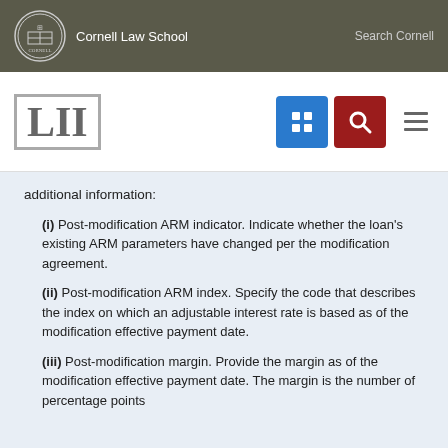Cornell Law School | Search Cornell
[Figure (logo): LII Legal Information Institute logo with navigation icons]
additional information:
(i) Post-modification ARM indicator. Indicate whether the loan's existing ARM parameters have changed per the modification agreement.
(ii) Post-modification ARM index. Specify the code that describes the index on which an adjustable interest rate is based as of the modification effective payment date.
(iii) Post-modification margin. Provide the margin as of the modification effective payment date. The margin is the number of percentage points